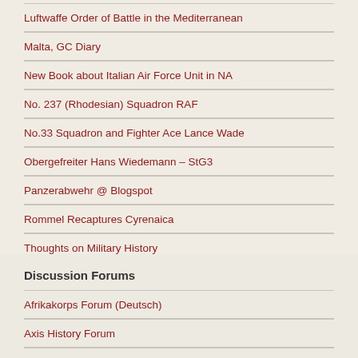Luftwaffe Order of Battle in the Mediterranean
Malta, GC Diary
New Book about Italian Air Force Unit in NA
No. 237 (Rhodesian) Squadron RAF
No.33 Squadron and Fighter Ace Lance Wade
Obergefreiter Hans Wiedemann – StG3
Panzerabwehr @ Blogspot
Rommel Recaptures Cyrenaica
Thoughts on Military History
Discussion Forums
Afrikakorps Forum (Deutsch)
Axis History Forum
Comando Supremo Forum (English/Italian)